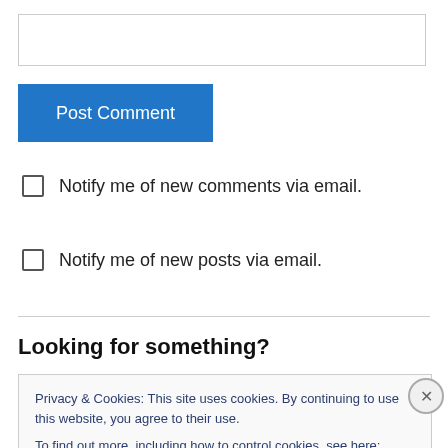[Figure (screenshot): Empty text input box with border]
[Figure (screenshot): Blue 'Post Comment' button]
Notify me of new comments via email.
Notify me of new posts via email.
Looking for something?
Privacy & Cookies: This site uses cookies. By continuing to use this website, you agree to their use.
To find out more, including how to control cookies, see here: Cookie Policy
Close and accept